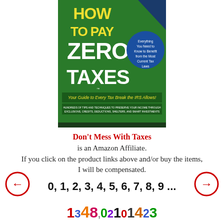[Figure (illustration): Book cover: 'How to Pay Zero Taxes - Your Guide to Every Tax Break the IRS Allows!' Green background with yellow and white text, blue circle badge saying 'Everything You Need to Know to Benefit from the Most Current Tax Laws', text at bottom 'Hundreds of tips and techniques to preserve your income through exclusions, credits, deductions, shelters, and smart investments']
Don't Mess With Taxes is an Amazon Affiliate. If you click on the product links above and/or buy the items, I will be compensated.
[Figure (illustration): Navigation arrows: left arrow circle on left, right arrow circle on right. Center shows bold black text '0, 1, 2, 3, 4, 5, 6, 7, 8, 9 ...' and colorful multicolored number digits below.]